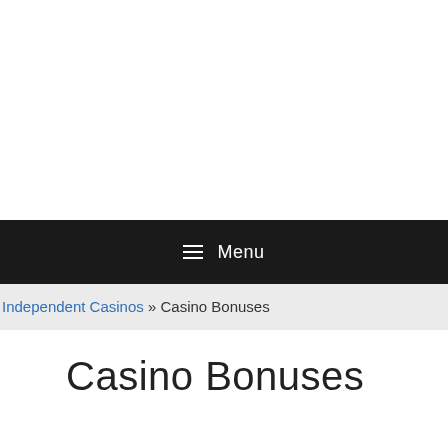≡ Menu
Independent Casinos » Casino Bonuses
Casino Bonuses